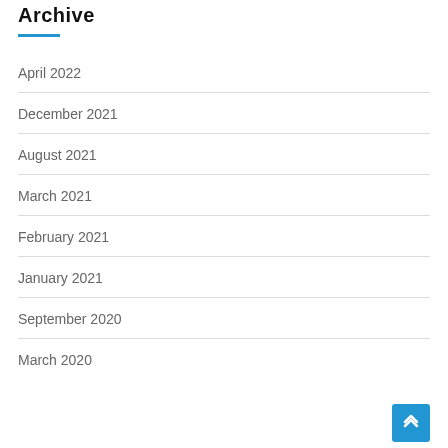Archive
April 2022
December 2021
August 2021
March 2021
February 2021
January 2021
September 2020
March 2020